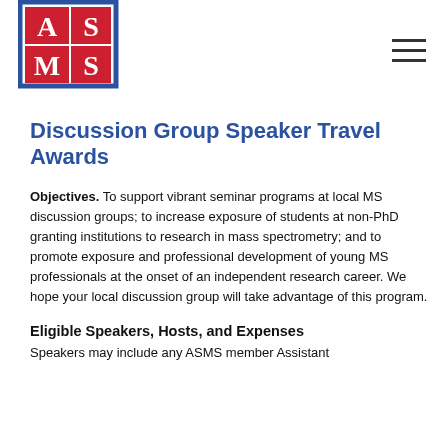[Figure (logo): ASMS logo: four red squares arranged in a 2x2 grid with letters A, S, M, S in white serif font, surrounded by a blue border]
Discussion Group Speaker Travel Awards
Objectives. To support vibrant seminar programs at local MS discussion groups; to increase exposure of students at non-PhD granting institutions to research in mass spectrometry; and to promote exposure and professional development of young MS professionals at the onset of an independent research career. We hope your local discussion group will take advantage of this program.
Eligible Speakers, Hosts, and Expenses
Speakers may include any ASMS member Assistant